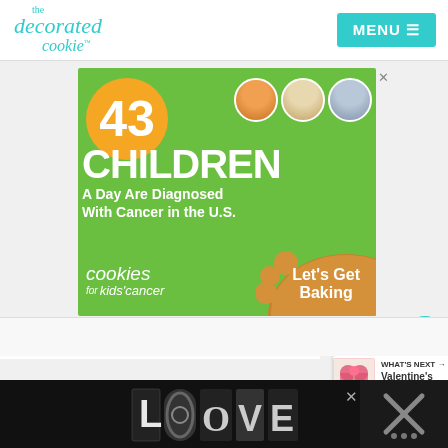[Figure (logo): The Decorated Cookie logo in teal/cyan cursive script]
[Figure (infographic): Advertisement banner: '43 CHILDREN A Day Are Diagnosed With Cancer in the U.S.' — Cookies for Kids' Cancer with 'Let's Get Baking' call to action on green background]
580
WHAT'S NEXT → Valentine's Day...
[Figure (illustration): LOOVE decorative text logo in black and white intricate pattern at the bottom of the page]